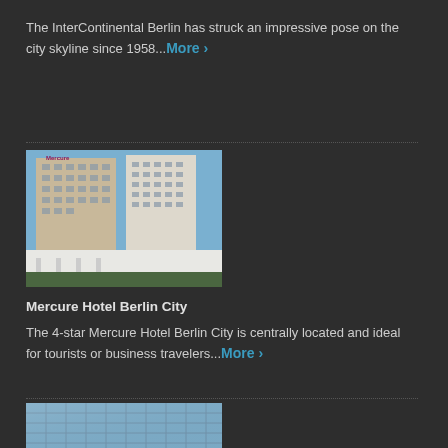The InterContinental Berlin has struck an impressive pose on the city skyline since 1958... More ›
[Figure (photo): Mercure Hotel Berlin City building exterior — tall multi-story hotel with beige and white facade, windows in rows, lower white entrance canopy, trees in foreground, blue sky.]
Mercure Hotel Berlin City
The 4-star Mercure Hotel Berlin City is centrally located and ideal for tourists or business travelers... More ›
[Figure (photo): Partial view of a modern glass-and-steel high-rise building facade shot from below against blue sky.]